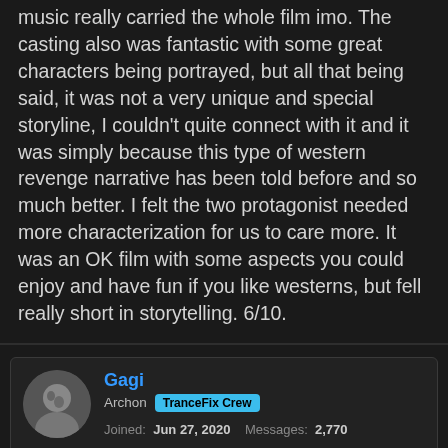music really carried the whole film imo. The casting also was fantastic with some great characters being portrayed, but all that being said, it was not a very unique and special storyline, I couldn't quite connect with it and it was simply because this type of western revenge narrative has been told before and so much better. I felt the two protagonist needed more characterization for us to care more. It was an OK film with some aspects you could enjoy and have fun if you like westerns, but fell really short in storytelling. 6/10.
Gagi
Archon | TranceFix Crew
Joined: Jun 27, 2020  Messages: 2,770
Thanked: 1,907  Location: Serbia
Nov 23, 2021  #258
All Quiet on the Western Front (1930)
It's been dubbed as one of the best movies ever made.
Realistically though, it's not even one of the best (anti-)war